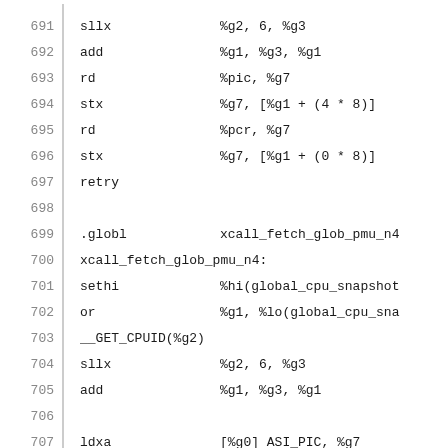691   sllx   %g2, 6, %g3
692   add   %g1, %g3, %g1
693   rd   %pic, %g7
694   stx   %g7, [%g1 + (4 * 8)]
695   rd   %pcr, %g7
696   stx   %g7, [%g1 + (0 * 8)]
697   retry
698
699   .globl   xcall_fetch_glob_pmu_n4
700   xcall_fetch_glob_pmu_n4:
701   sethi   %hi(global_cpu_snapshot
702   or   %g1, %lo(global_cpu_sna
703   __GET_CPUID(%g2)
704   sllx   %g2, 6, %g3
705   add   %g1, %g3, %g1
706
707   ldxa   [%g0] ASI_PIC, %g7
708   stx   %g7, [%g1 + (4 * 8)]
709   mov   0x08, %g3
710   ldxa   [%g3] ASI_PIC, %g7
711   stx   %g7, [%g1 + (5 * 8)]
712   mov   0x10, %g3